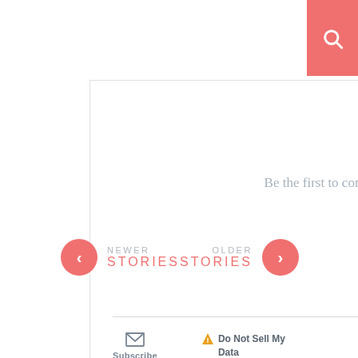[Figure (other): Pink search button with magnifying glass icon in top-right corner]
Be the first to comment.
Subscribe
Do Not Sell My Data
DISQUS
NEWER STORIES
OLDER STORIES